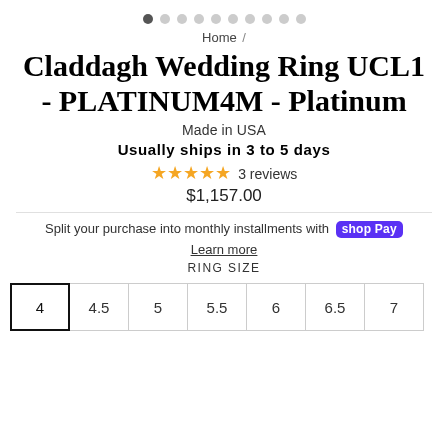[Figure (other): Carousel pagination dots, 10 dots total, first dot filled/active]
Home /
Claddagh Wedding Ring UCL1 - PLATINUM4M - Platinum
Made in USA
Usually ships in 3 to 5 days
★★★★★ 3 reviews
$1,157.00
Split your purchase into monthly installments with Shop Pay
Learn more
RING SIZE
4   4.5   5   5.5   6   6.5   7